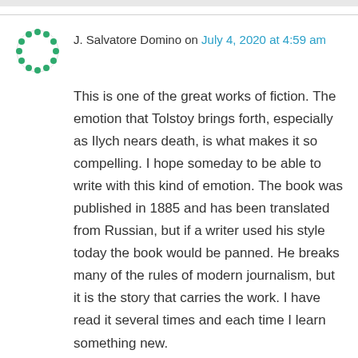J. Salvatore Domino on July 4, 2020 at 4:59 am
This is one of the great works of fiction. The emotion that Tolstoy brings forth, especially as Ilych nears death, is what makes it so compelling. I hope someday to be able to write with this kind of emotion. The book was published in 1885 and has been translated from Russian, but if a writer used his style today the book would be panned. He breaks many of the rules of modern journalism, but it is the story that carries the work. I have read it several times and each time I learn something new.
Reply